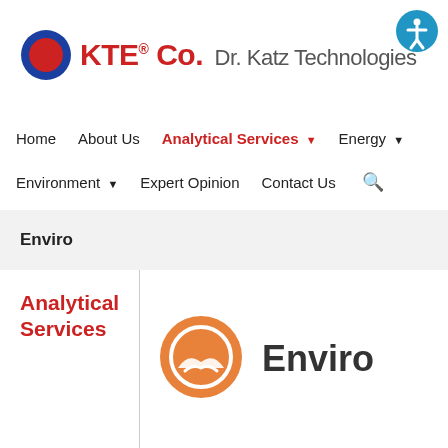[Figure (logo): KTE Co. logo with red circle inside blue ring, company name KTE® Co. Dr. Katz Technologies in red and gray bold text, plus accessibility icon in top-right corner]
Home   About Us   Analytical Services ▾   Energy ▾   Environment ▾   Expert Opinion   Contact Us   🔍
Enviro
Analytical Services
[Figure (logo): Circular orange icon with a landscape/environment symbol inside]
Enviro